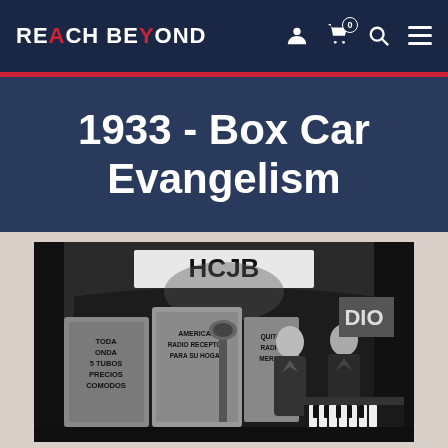REACH BEYOND
1933 - Box Car Evangelism
[Figure (photo): Black and white photograph taken inside a box car/train car. A large HCJB radio banner is visible overhead. Two men in suits stand near radio broadcasting equipment. Signs on bags read: 'TODA ONDA 5 TUBOS PRECIOS COMODOS', 'AMERICAN RADIO RECEPTOR PARA SU HOGAR', 'QUITO RADIO MERCY'. A piano is visible in the right foreground.]